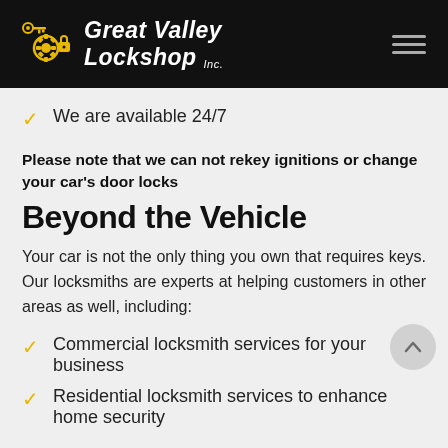Great Valley Lockshop Inc.
We are available 24/7
Please note that we can not rekey ignitions or change your car's door locks
Beyond the Vehicle
Your car is not the only thing you own that requires keys. Our locksmiths are experts at helping customers in other areas as well, including:
Commercial locksmith services for your business
Residential locksmith services to enhance home security